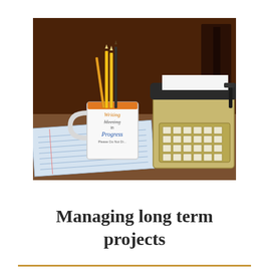[Figure (photo): Photograph of a desk scene showing a white mug with pencils holding text 'Writing / Meeting in Progress / Please Do Not Disturb', a vintage typewriter, crumpled paper, a notebook, and a dark wooden bookshelf background.]
Managing long term projects